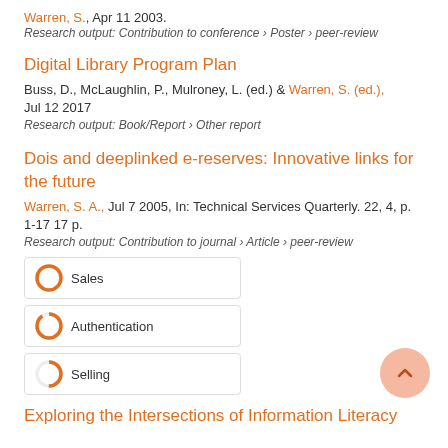Warren, S., Apr 11 2003.
Research output: Contribution to conference › Poster › peer-review
Digital Library Program Plan
Buss, D., McLaughlin, P., Mulroney, L. (ed.) & Warren, S. (ed.), Jul 12 2017
Research output: Book/Report › Other report
Dois and deeplinked e-reserves: Innovative links for the future
Warren, S. A., Jul 7 2005, In: Technical Services Quarterly. 22, 4, p. 1-17 17 p.
Research output: Contribution to journal › Article › peer-review
[Figure (infographic): Badge icons for Sales (100%), Authentication (90%), Selling (50%)]
Exploring the Intersections of Information Literacy